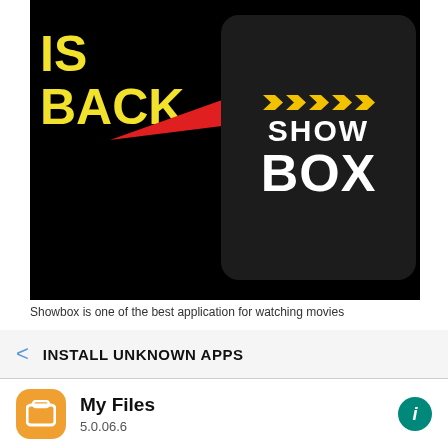[Figure (screenshot): Showbox app promotional image with 'IS BACK' text in yellow on black background, red arrow pointing to Showbox logo on the right]
Showbox is one of the best application for watching movies
[Figure (screenshot): Android 'Install Unknown Apps' settings screen showing My Files app version 5.0.06.6 with Allow from this source toggle and warning text]
Your phone and personal data are more vulnerable to attack by unknown apps. By installing apps from